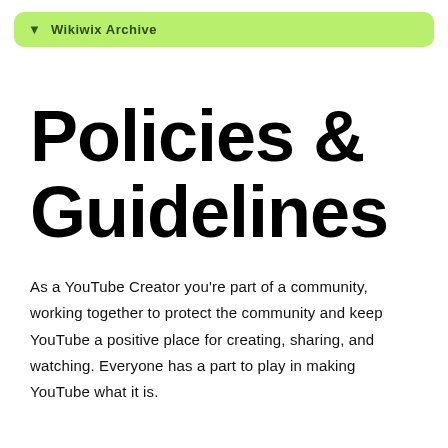Wikiwix Archive
Policies & Guidelines
As a YouTube Creator you're part of a community, working together to protect the community and keep YouTube a positive place for creating, sharing, and watching. Everyone has a part to play in making YouTube what it is.